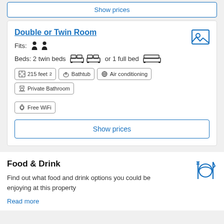Show prices
Double or Twin Room
Fits: [person icons x2]
Beds: 2 twin beds [icons] or 1 full bed [icon]
215 feet²
Bathtub
Air conditioning
Private Bathroom
Free WiFi
Show prices
Food & Drink
Find out what food and drink options you could be enjoying at this property
Read more